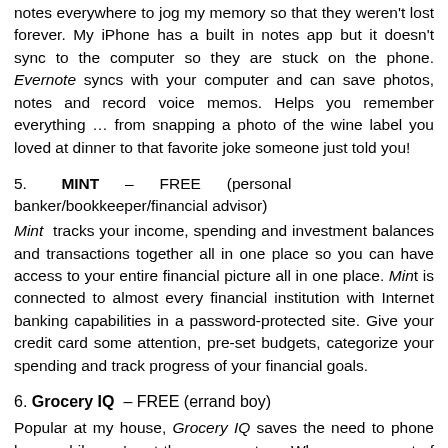notes everywhere to jog my memory so that they weren't lost forever. My iPhone has a built in notes app but it doesn't sync to the computer so they are stuck on the phone. Evernote syncs with your computer and can save photos, notes and record voice memos. Helps you remember everything … from snapping a photo of the wine label you loved at dinner to that favorite joke someone just told you!
5.   MINT  –  FREE  (personal banker/bookkeeper/financial advisor)
Mint  tracks your income, spending and investment balances and transactions together all in one place so you can have access to your entire financial picture all in one place. Mint is connected to almost every financial institution with Internet banking capabilities in a password-protected site. Give your credit card some attention, pre-set budgets, categorize your spending and track progress of your financial goals.
6. Grocery IQ  – FREE (errand boy)
Popular at my house, Grocery IQ saves the need to phone home while you're at the grocery store. When you run out of an item, before throwing it out, just scan the bar code (with